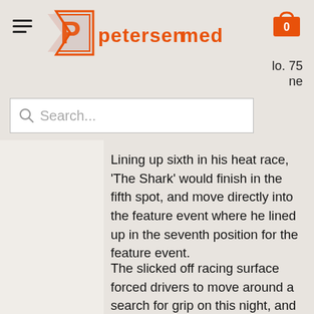Petersen Media — hamburger menu, logo, cart, search bar
Lining up sixth in his heat race, ‘The Shark’ would finish in the fifth spot, and move directly into the feature event where he lined up in the seventh position for the feature event.
The slicked off racing surface forced drivers to move around a search for grip on this night, and Becker would get off to a slower than desired start. As the laps clicked off, Becker’s Menne Motorsports machine would slowly come to life, and get stronger.